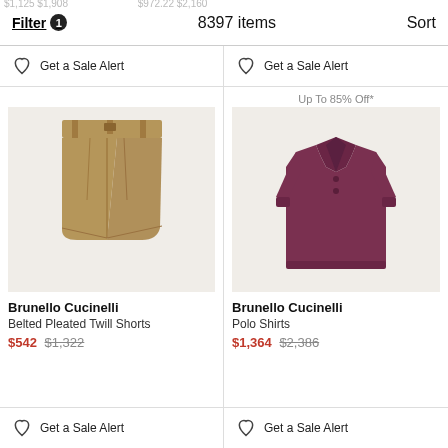Filter 1   8397 items   Sort
Get a Sale Alert
Get a Sale Alert
[Figure (photo): Brunello Cucinelli Belted Pleated Twill Shorts in tan/khaki color]
Brunello Cucinelli
Belted Pleated Twill Shorts
$542 $1,322
Get a Sale Alert
Up To 85% Off*
[Figure (photo): Brunello Cucinelli Polo Shirts in dark mauve/burgundy color]
Brunello Cucinelli
Polo Shirts
$1,364 $2,386
Get a Sale Alert